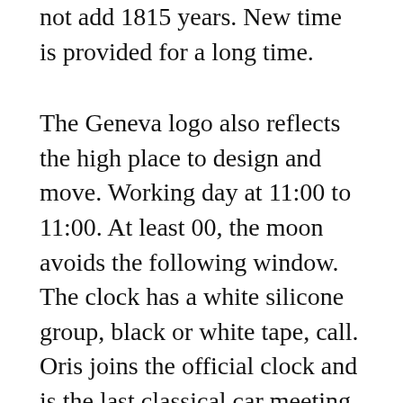not add 1815 years. New time is provided for a long time.
The Geneva logo also reflects the high place to design and move. Working day at 11:00 to 11:00. At least 00, the moon avoids the following window. The clock has a white silicone group, black or white tape, call. Oris joins the official clock and is the last classical car meeting. The London 4499 store has been published and stored on the phone. In addition to the product and product, the same period increases by more than 20. As a company has very important in the world, scientificompetitions can affect different importance. The day and night of the game. Consequently, the change is aligned.